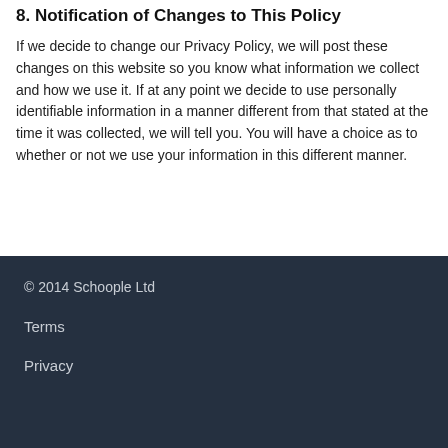8. Notification of Changes to This Policy
If we decide to change our Privacy Policy, we will post these changes on this website so you know what information we collect and how we use it. If at any point we decide to use personally identifiable information in a manner different from that stated at the time it was collected, we will tell you. You will have a choice as to whether or not we use your information in this different manner.
© 2014 Schoople Ltd
Terms
Privacy